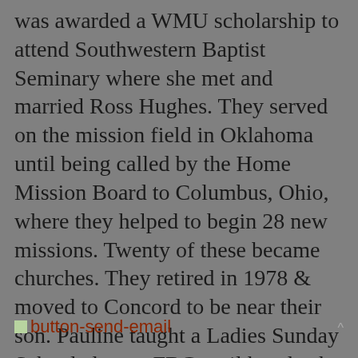was awarded a WMU scholarship to attend Southwestern Baptist Seminary where she met and married Ross Hughes. They served on the mission field in Oklahoma until being called by the Home Mission Board to Columbus, Ohio, where they helped to begin 28 new missions. Twenty of these became churches. They retired in 1978 & moved to Concord to be near their son. Pauline taught a Ladies Sunday School class at FBC until her death in 1999.
[Figure (other): button-send-email link image with text label]